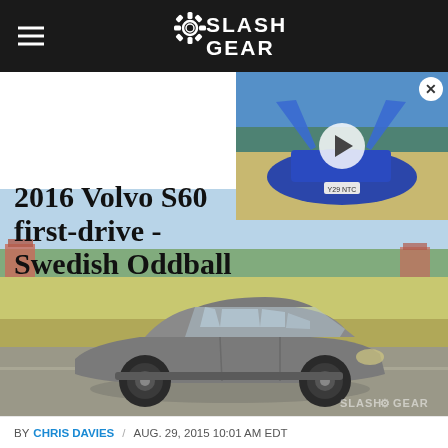SlashGear
2016 Volvo S60 first-drive - Swedish Oddball
[Figure (photo): Video thumbnail of a blue McLaren sports car with scissor doors open, from rear angle, with a play button overlay]
[Figure (photo): 2016 Volvo S60 Cross Country in grey color parked on a road with a golf course or open field in the background. SlashGear watermark in bottom right corner.]
BY CHRIS DAVIES / AUG. 29, 2015 10:01 AM EDT